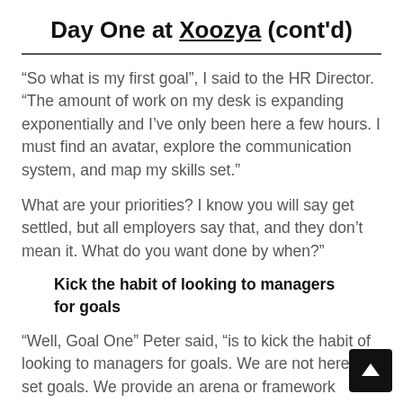Day One at Xoozya (cont'd)
“So what is my first goal”, I said to the HR Director.  “The amount of work on my desk is expanding exponentially and I’ve only been here a few hours.  I must find an avatar, explore the communication system, and map my skills set.”
What are your priorities?  I know you will say get settled, but all employers say that, and they don’t mean it.  What do you want done by when?”
Kick the habit of looking to managers for goals
“Well, Goal One” Peter said, “is to kick the habit of looking to managers for goals.  We are not here to set goals. We provide an arena or framework